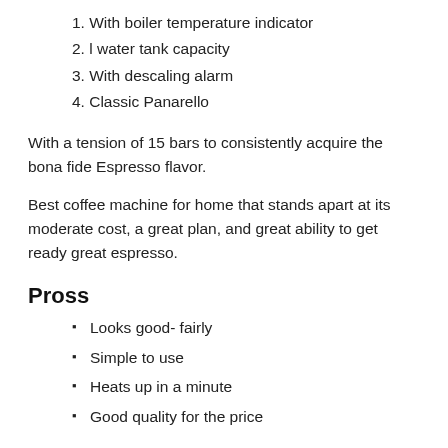1. With boiler temperature indicator
2. l water tank capacity
3. With descaling alarm
4. Classic Panarello
With a tension of 15 bars to consistently acquire the bona fide Espresso flavor.
Best coffee machine for home that stands apart at its moderate cost, a great plan, and great ability to get ready great espresso.
Pross
Looks good- fairly
Simple to use
Heats up in a minute
Good quality for the price